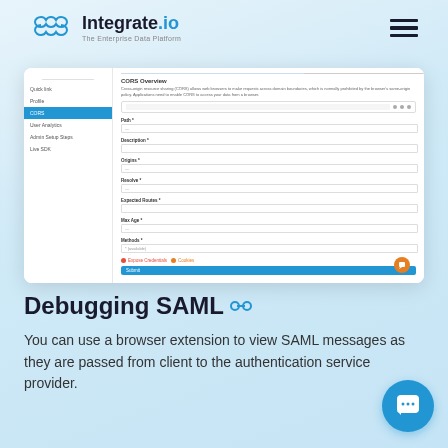[Figure (logo): Integrate.io logo with hexagon icon and tagline 'The Enterprise Data Platform']
[Figure (screenshot): Screenshot of Integrate.io web application showing a CORS Overview configuration form with fields for Path, Description, Origins, Resolve, Expected Routes, Max Age, and Methods, along with error indicators and a Save button]
Debugging SAML
You can use a browser extension to view SAML messages as they are passed from client to the authentication service provider.